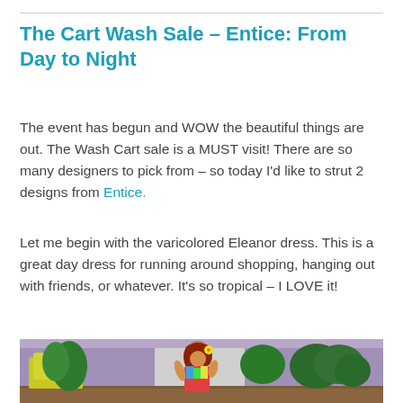The Cart Wash Sale – Entice: From Day to Night
The event has begun and WOW the beautiful things are out. The Wash Cart sale is a MUST visit! There are so many designers to pick from – so today I'd like to strut 2 designs from Entice.
Let me begin with the varicolored Eleanor dress. This is a great day dress for running around shopping, hanging out with friends, or whatever. It's so tropical – I LOVE it!
[Figure (photo): A virtual world (Second Life style) avatar of a red-haired woman in a colorful tropical patterned dress, standing among lush green tropical plants and yellow flowers against a purple wall background.]